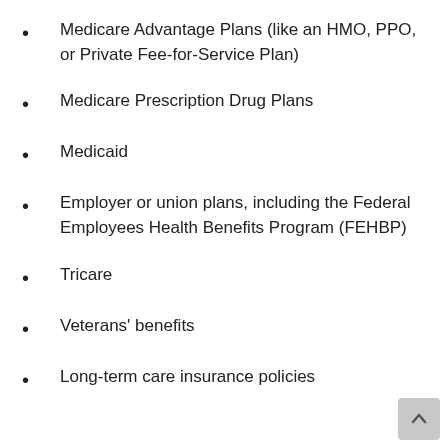Medicare Advantage Plans (like an HMO, PPO, or Private Fee-for-Service Plan)
Medicare Prescription Drug Plans
Medicaid
Employer or union plans, including the Federal Employees Health Benefits Program (FEHBP)
Tricare
Veterans' benefits
Long-term care insurance policies